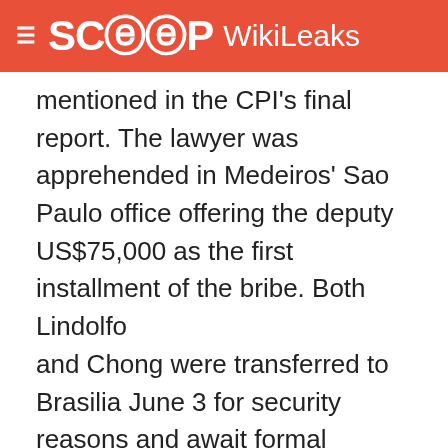SCOOP WikiLeaks
mentioned in the CPI's final report. The lawyer was apprehended in Medeiros' Sao Paulo office offering the deputy US$75,000 as the first installment of the bribe. Both Lindolfo and Chong were transferred to Brasilia June 3 for security reasons and await formal hearings. Chong, owner of three popular shopping malls in downtown Sao Paulo, is said to be the head of a contraband mafia that is responsible for the trafficking of a significant portion of pirated goods in Brazil. The Piracy CPI has targeted Chong for months.